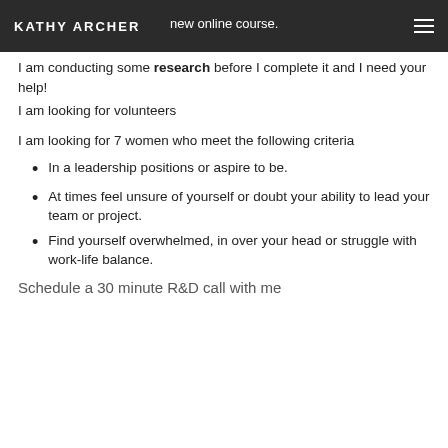KATHY ARCHER
new online course. I am conducting some research before I complete it and I need your help!
I am looking for volunteers
I am looking for 7 women who meet the following criteria
In a leadership positions or aspire to be.
At times feel unsure of yourself or doubt your ability to lead your team or project.
Find yourself overwhelmed, in over your head or struggle with work-life balance.
Schedule a 30 minute R&D call with me